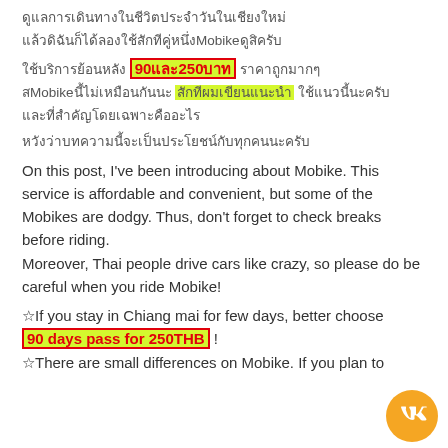Thai characters (top line)
Thai characters mentioning Mobike
Thai characters with highlighted '90 และ 250 บาท' (red on yellow) and highlighted Thai phrase (yellow)
Thai characters (short paragraph)
On this post, I've been introducing about Mobike. This service is affordable and convenient, but some of the Mobikes are dodgy. Thus, don't forget to check breaks before riding.
Moreover, Thai people drive cars like crazy, so please do be careful when you ride Mobike!
★If you stay in Chiang mai for few days, better choose 90 days pass for 250THB !
★There are small differences on Mobike. If you plan to...